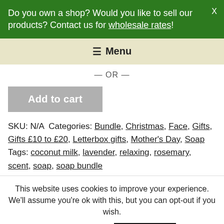Do you own a shop? Would you like to sell our products? Contact us for wholesale rates!
Menu
— OR —
Add to cart
SKU: N/A Categories: Bundle, Christmas, Face, Gifts, Gifts £10 to £20, Letterbox gifts, Mother's Day, Soap Tags: coconut milk, lavender, relaxing, rosemary, scent, soap, soap bundle
This website uses cookies to improve your experience. We'll assume you're ok with this, but you can opt-out if you wish.
Cookie settings  ACCEPT